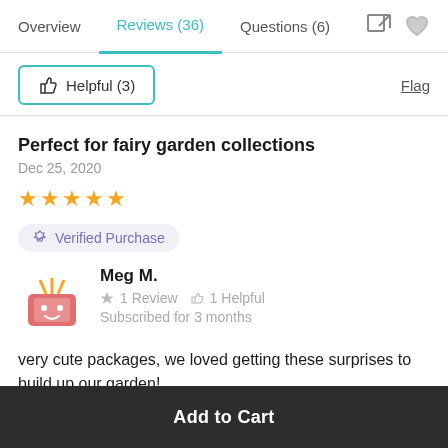Overview  Reviews (36)  Questions (6)
Helpful (3)  Flag
Perfect for fairy garden collections
Dec 25, 2020
★★★★★
Verified Purchase
Meg M.
1 Review  1 Helpful
Subscribed for 3 months
very cute packages, we loved getting these surprises to build up our garden!
Add to Cart